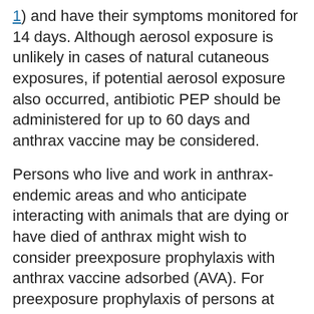1) and have their symptoms monitored for 14 days. Although aerosol exposure is unlikely in cases of natural cutaneous exposures, if potential aerosol exposure also occurred, antibiotic PEP should be administered for up to 60 days and anthrax vaccine may be considered.
Persons who live and work in anthrax-endemic areas and who anticipate interacting with animals that are dying or have died of anthrax might wish to consider preexposure prophylaxis with anthrax vaccine adsorbed (AVA). For preexposure prophylaxis of persons at high risk for B. anthracis exposure, AVA is administered intramuscularly as a priming series at 0, 1, and 6 months, with booster doses at 12 and 18 months and annually thereafter (19). Health departments in endemic areas that have existing vaccination programs can acquire AVA from the